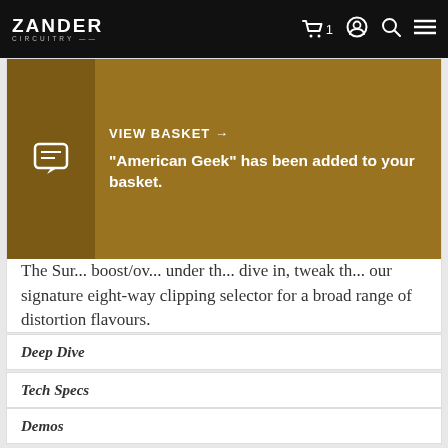Zander Circuitry — navigation bar with logo, cart (1), account, search, menu
[Figure (screenshot): Toast notification overlay showing VIEW BASKET arrow and message: "American Geek" has been added to your basket. on a dark golden/brown background with a chat/note icon on the left side.]
The Sur... boost/ov... under th... dive in, ... tweak th... our signature eight-way clipping selector for a broad range of distortion flavours.
The result? An all-in-one pedal that helps you unlock dozens of different drive sounds. Use them as the foundations of your tone, uniquely voiced boosts for ripping solos, or anything in-between.
Deep Dive
Tech Specs
Demos